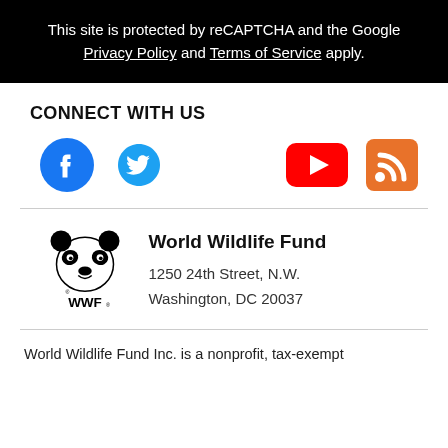This site is protected by reCAPTCHA and the Google Privacy Policy and Terms of Service apply.
CONNECT WITH US
[Figure (infographic): Social media icons: Facebook (blue circle with f), Twitter (blue bird), YouTube (red rectangle with play button), RSS feed (orange wifi/rss icon)]
[Figure (logo): WWF World Wildlife Fund panda logo with text WWF below]
World Wildlife Fund
1250 24th Street, N.W.
Washington, DC 20037
World Wildlife Fund Inc. is a nonprofit, tax-exempt